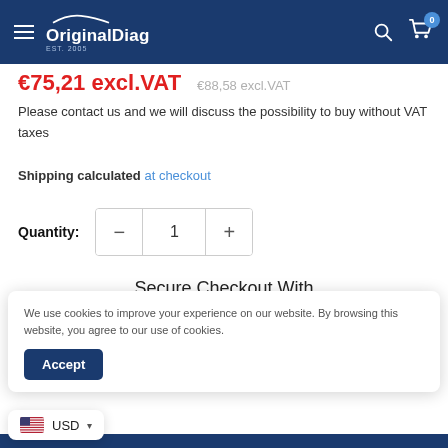OriginalDiag
€75,21 excl.VAT   €88,58 excl.VAT
Please contact us and we will discuss the possibility to buy without VAT taxes
Shipping calculated at checkout
Quantity: 1
Secure Checkout With
We use cookies to improve your experience on our website. By browsing this website, you agree to our use of cookies.
Accept
USD